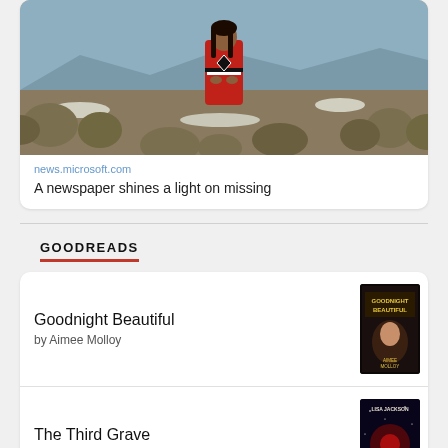[Figure (photo): News card with photo of a person in a red blanket standing in a sagebrush desert landscape with mountains in background]
news.microsoft.com
A newspaper shines a light on missing
GOODREADS
Goodnight Beautiful
by Aimee Molloy
[Figure (illustration): Book cover for Goodnight Beautiful by Aimee Molloy]
The Third Grave
by Lisa Jackson
[Figure (illustration): Book cover for The Third Grave by Lisa Jackson]